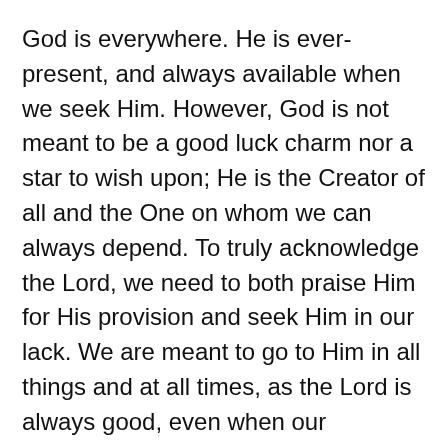God is everywhere. He is ever-present, and always available when we seek Him. However, God is not meant to be a good luck charm nor a star to wish upon; He is the Creator of all and the One on whom we can always depend. To truly acknowledge the Lord, we need to both praise Him for His provision and seek Him in our lack. We are meant to go to Him in all things and at all times, as the Lord is always good, even when our circumstances are not. May we ever take to heart who God is and how He loves, so that we will seek and depend on the Lord and give Him praise for all of our days.